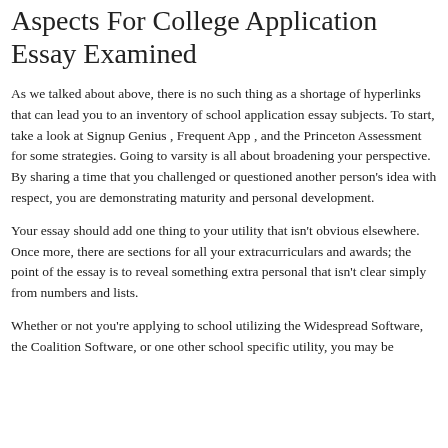Aspects For College Application Essay Examined
As we talked about above, there is no such thing as a shortage of hyperlinks that can lead you to an inventory of school application essay subjects. To start, take a look at Signup Genius , Frequent App , and the Princeton Assessment for some strategies. Going to varsity is all about broadening your perspective. By sharing a time that you challenged or questioned another person's idea with respect, you are demonstrating maturity and personal development.
Your essay should add one thing to your utility that isn't obvious elsewhere. Once more, there are sections for all your extracurriculars and awards; the point of the essay is to reveal something extra personal that isn't clear simply from numbers and lists.
Whether or not you're applying to school utilizing the Widespread Software, the Coalition Software, or one other school specific utility, you may be